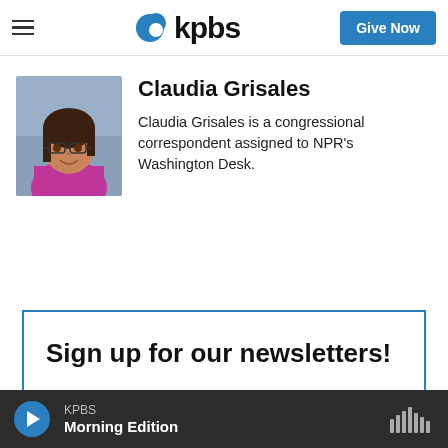kpbs | Give Now
[Figure (photo): Headshot photo of Claudia Grisales, a woman with dark hair and glasses wearing a magenta/pink top, against a light blue background]
Claudia Grisales
Claudia Grisales is a congressional correspondent assigned to NPR's Washington Desk.
Sign up for our newsletters!
KPBS Morning Edition